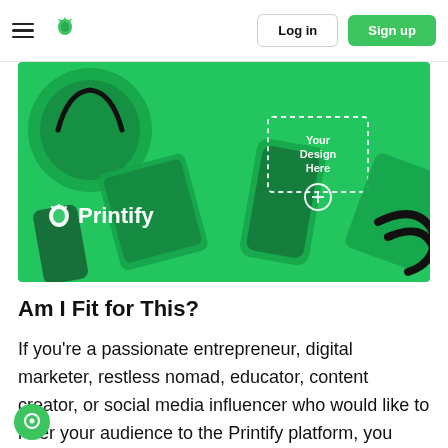Log in | Sign up
[Figure (illustration): Printify hero banner showing green-tinted product mockups (bags, phone cases) with the Printify logo and a 'Your Design Here' dashed placeholder box]
Am I Fit for This?
If you’re a passionate entrepreneur, digital marketer, restless nomad, educator, content creator, or social media influencer who would like to refer your audience to the Printify platform, you sure are on